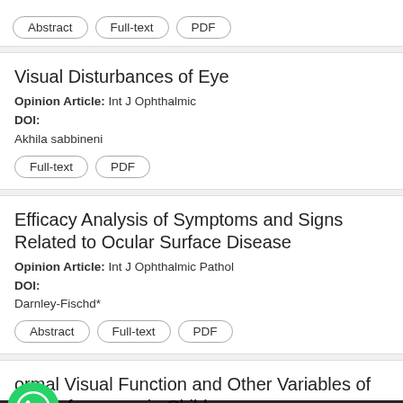Abstract  Full-text  PDF
Visual Disturbances of Eye
Opinion Article: Int J Ophthalmic
DOI:
Akhila sabbineni
Full-text  PDF
Efficacy Analysis of Symptoms and Signs Related to Ocular Surface Disease
Opinion Article: Int J Ophthalmic Pathol
DOI:
Darnley-Fischd*
Abstract  Full-text  PDF
ormal Visual Function and Other Variables of ng Performance in Children
Firs                 l
DOI: